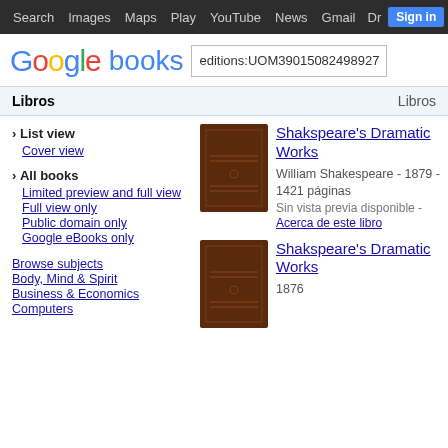Search  Images  Maps  Play  YouTube  News  Gmail  Drive  More  Sign in  ⚙
[Figure (logo): Google books logo with search box containing: editions:UOM39015082498927]
Libros   Libros
› List view
Cover view
› All books
Limited preview and full view
Full view only
Public domain only
Google eBooks only
Browse subjects
Body, Mind & Spirit
Business & Economics
Computers
[Figure (photo): Brown book cover thumbnail for Shakspeare's Dramatic Works]
Shakspeare's Dramatic Works
William Shakespeare - 1879 - 1421 páginas
Sin vista previa disponible - Acerca de este libro
[Figure (photo): Brown book cover thumbnail for Shakspeare's Dramatic Works (second entry)]
Shakspeare's Dramatic Works
1876